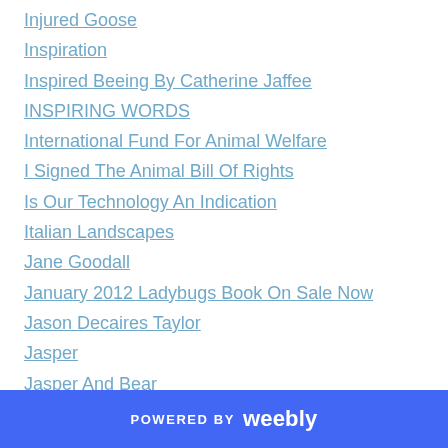Injured Goose
Inspiration
Inspired Beeing By Catherine Jaffee
INSPIRING WORDS
International Fund For Animal Welfare
I Signed The Animal Bill Of Rights
Is Our Technology An Indication
Italian Landscapes
Jane Goodall
January 2012 Ladybugs Book On Sale Now
Jason Decaires Taylor
Jasper
Jasper And Bear
Jasper Of Flag Patrol
POWERED BY weebly